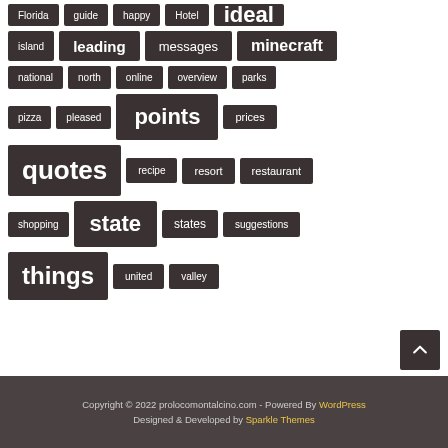Florida
guide
happy
Hotel
ideal
island
leading
messages
minecraft
national
north
online
overview
parks
pizza
pleased
points
prices
quotes
recipe
resort
restaurant
shopping
state
states
suggestions
things
united
valley
Copyright © 2022 prolocomontalcino.com - Powered By WordPress
Designed & Developed by Sparkle Themes